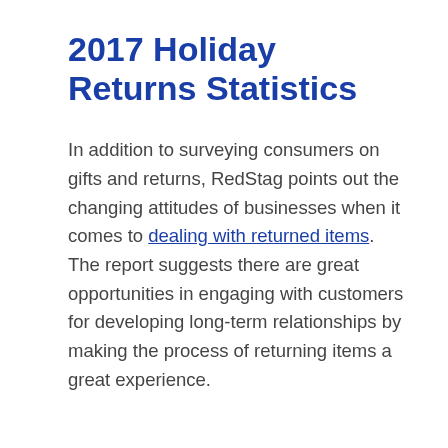2017 Holiday Returns Statistics
In addition to surveying consumers on gifts and returns, RedStag points out the changing attitudes of businesses when it comes to dealing with returned items. The report suggests there are great opportunities in engaging with customers for developing long-term relationships by making the process of returning items a great experience.